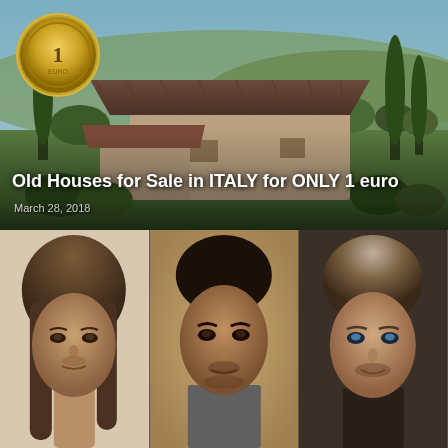[Figure (photo): Tuscan countryside with a stone farmhouse, cypress trees, rolling hills, and a 1 euro coin overlaid in top-left corner. Title text 'Old Houses for Sale in ITALY for ONLY 1 euro' and date 'March 28, 2018' overlaid on lower portion.]
Old Houses for Sale in ITALY for ONLY 1 euro
March 28, 2018
[Figure (photo): Three portrait photos of attractive young men side by side.]